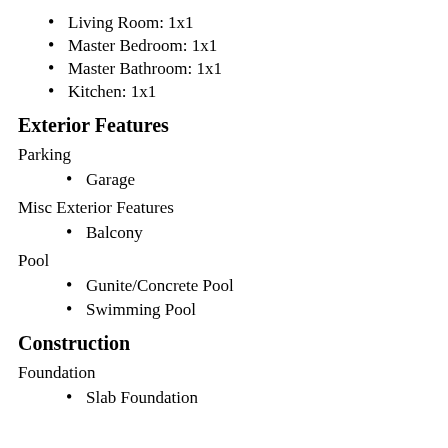Living Room: 1x1
Master Bedroom: 1x1
Master Bathroom: 1x1
Kitchen: 1x1
Exterior Features
Parking
Garage
Misc Exterior Features
Balcony
Pool
Gunite/Concrete Pool
Swimming Pool
Construction
Foundation
Slab Foundation